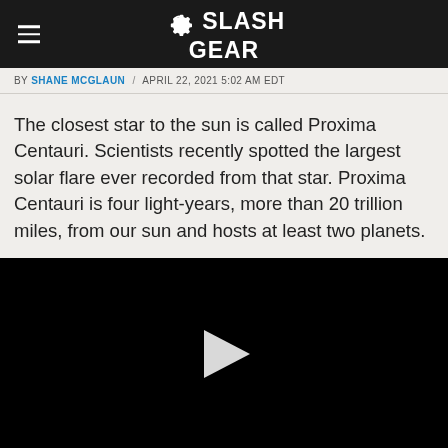SlashGear
BY SHANE MCGLAUN / APRIL 22, 2021 5:02 AM EDT
The closest star to the sun is called Proxima Centauri. Scientists recently spotted the largest solar flare ever recorded from that star. Proxima Centauri is four light-years, more than 20 trillion miles, from our sun and hosts at least two planets.
[Figure (screenshot): Black video player with a white play button triangle in the center]